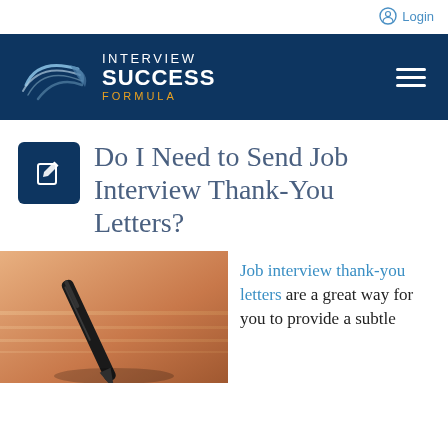Login
[Figure (logo): Interview Success Formula logo with swoosh graphic on dark blue background]
Do I Need to Send Job Interview Thank-You Letters?
[Figure (photo): Close-up photo of a fountain pen writing on paper, warm sepia/orange tones]
Job interview thank-you letters are a great way for you to provide a subtle